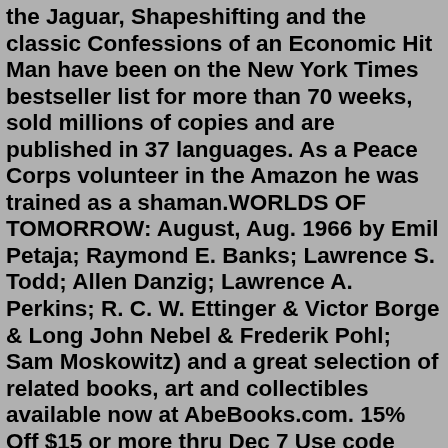the Jaguar, Shapeshifting and the classic Confessions of an Economic Hit Man have been on the New York Times bestseller list for more than 70 weeks, sold millions of copies and are published in 37 languages. As a Peace Corps volunteer in the Amazon he was trained as a shaman.WORLDS OF TOMORROW: August, Aug. 1966 by Emil Petaja; Raymond E. Banks; Lawrence S. Todd; Allen Danzig; Lawrence A. Perkins; R. C. W. Ettinger & Victor Borge & Long John Nebel & Frederik Pohl; Sam Moskowitz) and a great selection of related books, art and collectibles available now at AbeBooks.com. 15% Off $15 or more thru Dec 7 Use code HOLIDAY15. John Perkins Series By John Perkins; Books By John Perkins John Perkins, Author Berrett-Koehler Publishers $26.95 (250p) ISBN 978-1-57675-301-9. Perkins spent the 1970s working as an economic planner for an international consulting firm, a job that took ... john perkins (born January 28, 1945) is an American author. His best known book is Confessions of an Economic Hit Man (2004), in which Perkins claims to